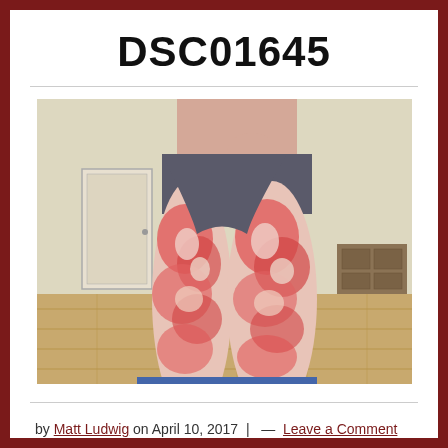DSC01645
[Figure (photo): Medical photograph showing the legs of a person with severe red, inflamed skin rash or eczema covering both thighs and lower legs. The person is wearing dark shorts and standing indoors on a hardwood floor.]
by Matt Ludwig on April 10, 2017 | — Leave a Comment